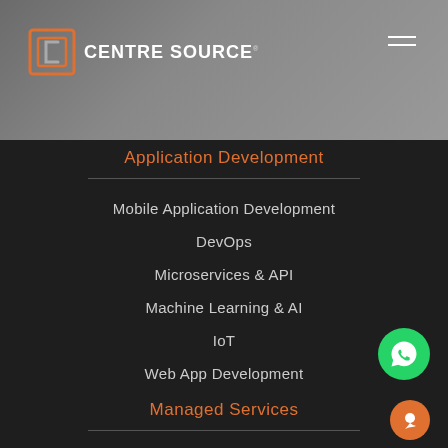[Figure (logo): Centre Source logo with orange bracket icon and white text on grey header background]
Application Development
Mobile Application Development
DevOps
Microservices & API
Machine Learning & AI
IoT
Web App Development
Managed Services